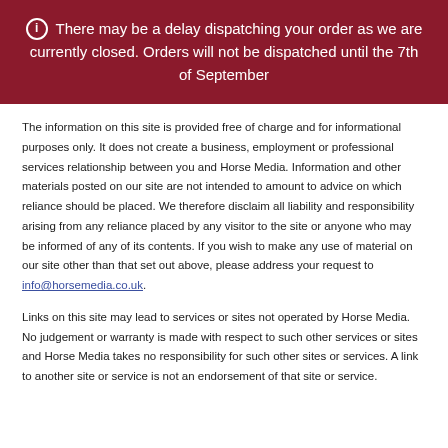ℹ There may be a delay dispatching your order as we are currently closed. Orders will not be dispatched until the 7th of September
The information on this site is provided free of charge and for informational purposes only. It does not create a business, employment or professional services relationship between you and Horse Media. Information and other materials posted on our site are not intended to amount to advice on which reliance should be placed. We therefore disclaim all liability and responsibility arising from any reliance placed by any visitor to the site or anyone who may be informed of any of its contents. If you wish to make any use of material on our site other than that set out above, please address your request to info@horsemedia.co.uk.
Links on this site may lead to services or sites not operated by Horse Media. No judgement or warranty is made with respect to such other services or sites and Horse Media takes no responsibility for such other sites or services. A link to another site or service is not an endorsement of that site or service.